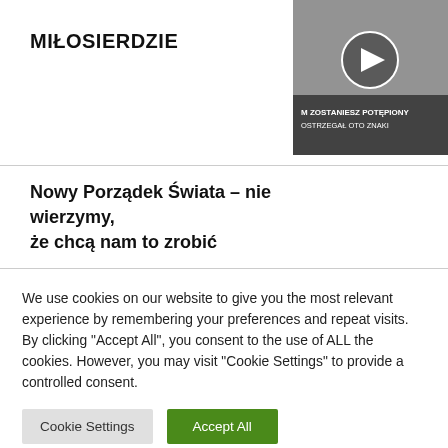MIŁOSIERDZIE
[Figure (screenshot): Video thumbnail in top right corner showing a circular play button overlay with text 'M ZOSTANIESZ POTĘPIONY OSTRZEGAŁ OTO ZNAKI' in white on a dark background]
Nowy Porządek Świata – nie wierzymy, że chcą nam to zrobić
We use cookies on our website to give you the most relevant experience by remembering your preferences and repeat visits. By clicking "Accept All", you consent to the use of ALL the cookies. However, you may visit "Cookie Settings" to provide a controlled consent.